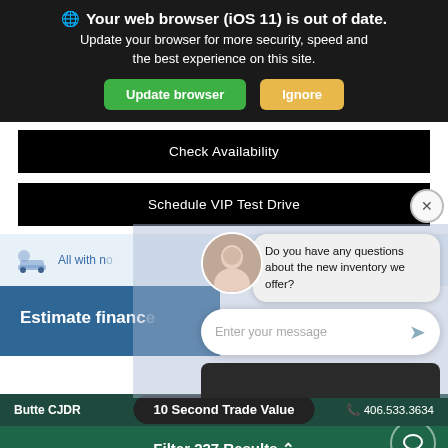🌐 Your web browser (iOS 11) is out of date.
Update your browser for more security, speed and the best experience on this site.
Update browser | Ignore
Check Availability
Schedule VIP Test Drive
[Figure (screenshot): Chat widget showing avatar, bubble asking 'Do you have any questions about the new inventory we offer?' and message input field]
All with no
Estimate financ
Do you have any questions about the new inventory we offer?
Enter your message
Butte CJDR
10 Second Trade Value
406.533.3634
Filter 227 Results ^